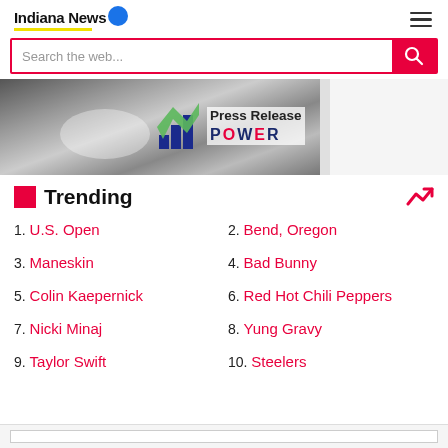Indiana News
Search the web...
[Figure (photo): Banner with people eating/dining in black and white, overlaid with Press Release Power logo]
Trending
1. U.S. Open
2. Bend, Oregon
3. Maneskin
4. Bad Bunny
5. Colin Kaepernick
6. Red Hot Chili Peppers
7. Nicki Minaj
8. Yung Gravy
9. Taylor Swift
10. Steelers